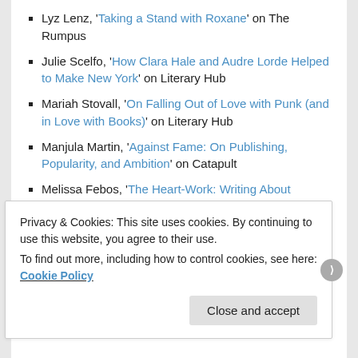Lyz Lenz, 'Taking a Stand with Roxane' on The Rumpus
Julie Scelfo, 'How Clara Hale and Audre Lorde Helped to Make New York' on Literary Hub
Mariah Stovall, 'On Falling Out of Love with Punk (and in Love with Books)' on Literary Hub
Manjula Martin, 'Against Fame: On Publishing, Popularity, and Ambition' on Catapult
Melissa Febos, 'The Heart-Work: Writing About Trauma as a Subversive Act' on Poets & Writers
Adelia Saunders, 'The Power and Politics of Language, from Oppressor to Oppressed' on Literary Hub
Ottessa Moshfegh, 'Finding Meaning in Going
Privacy & Cookies: This site uses cookies. By continuing to use this website, you agree to their use.
To find out more, including how to control cookies, see here: Cookie Policy